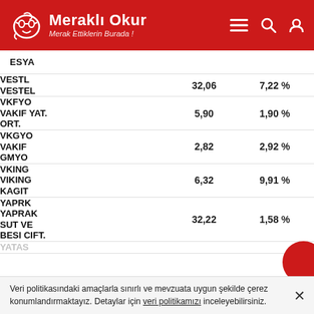Meraklı Okur — Merak Ettiklerin Burada !
|  | Fiyat | Değişim |
| --- | --- | --- |
| ESYA |  |  |
| VESTL
VESTEL | 32,06 | 7,22 % |
| VKFYO
VAKIF YAT. ORT. | 5,90 | 1,90 % |
| VKGYO
VAKIF GMYO | 2,82 | 2,92 % |
| VKING
VIKING KAGIT | 6,32 | 9,91 % |
| YAPRK
YAPRAK SUT VE BESI CIFT. | 32,22 | 1,58 % |
| YATAS |  |  |
Veri politikasındaki amaçlarla sınırlı ve mevzuata uygun şekilde çerez konumlandırmaktayız. Detaylar için veri politikamızı inceleyebilirsiniz.